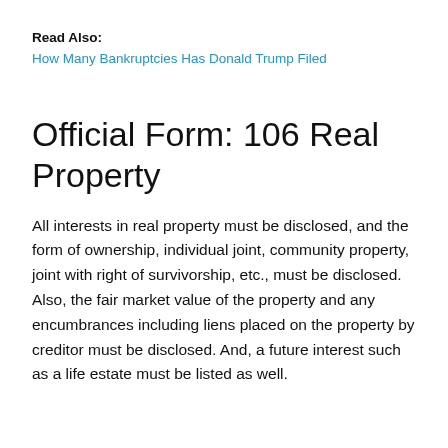Read Also:
How Many Bankruptcies Has Donald Trump Filed
Official Form: 106 Real Property
All interests in real property must be disclosed, and the form of ownership, individual joint, community property, joint with right of survivorship, etc., must be disclosed. Also, the fair market value of the property and any encumbrances including liens placed on the property by creditor must be disclosed. And, a future interest such as a life estate must be listed as well.